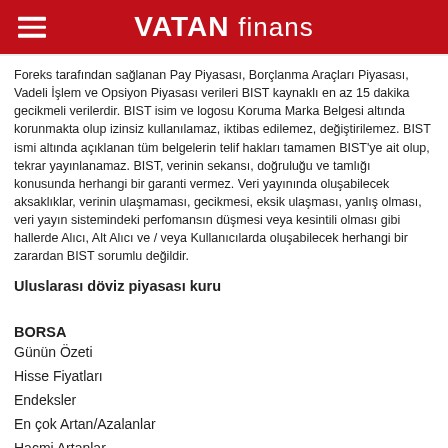VATAN finans
Foreks tarafından sağlanan Pay Piyasası, Borçlanma Araçları Piyasası, Vadeli İşlem ve Opsiyon Piyasası verileri BIST kaynaklı en az 15 dakika gecikmeli verilerdir. BIST isim ve logosu Koruma Marka Belgesi altında korunmakta olup izinsiz kullanılamaz, iktibas edilemez, değiştirilemez. BIST ismi altında açıklanan tüm belgelerin telif hakları tamamen BIST'ye ait olup, tekrar yayınlanamaz. BIST, verinin sekansı, doğruluğu ve tamlığı konusunda herhangi bir garanti vermez. Veri yayınında oluşabilecek aksaklıklar, verinin ulaşmaması, gecikmesi, eksik ulaşması, yanlış olması, veri yayın sistemindeki perfomansın düşmesi veya kesintili olması gibi hallerde Alıcı, Alt Alıcı ve / veya Kullanıcılarda oluşabilecek herhangi bir zarardan BIST sorumlu değildir.
Uluslarası döviz piyasası kuru
BORSA
Günün Özeti
Hisse Fiyatları
Endeksler
En çok Artan/Azalanlar
Hacmi Artanlar
Dünya Borsaları
DÖVİZ
Döviz Kuru
Pariteler